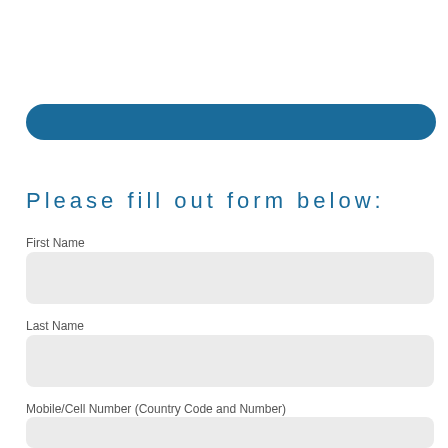[Figure (other): Blue rounded rectangle header bar]
Please fill out form below:
First Name
[Figure (other): Empty gray input field for First Name]
Last Name
[Figure (other): Empty gray input field for Last Name]
Mobile/Cell Number (Country Code and Number)
[Figure (other): Empty gray input field for Mobile/Cell Number]